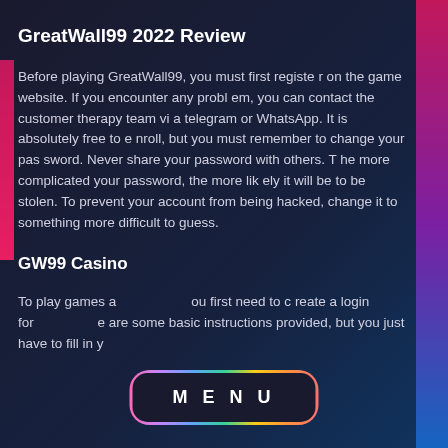GreatWall99 2022 Review
Before playing GreatWall99, you must first register on the game website. If you encounter any problem, you can contact the customer therapy team via telegram or WhatsApp. It is absolutely free to enroll, but you must remember to change your password. Never share your password with others. The more complicated your password, the more likely it will be to be stolen. To prevent your account from being hacked, change it to something more difficult to guess.
GW99 Casino
To play games at GW99, you first need to create a login for... there are some basic instructions provided, but you just have to fill in y
[Figure (other): MENU button overlay with rainbow gradient border on dark background]